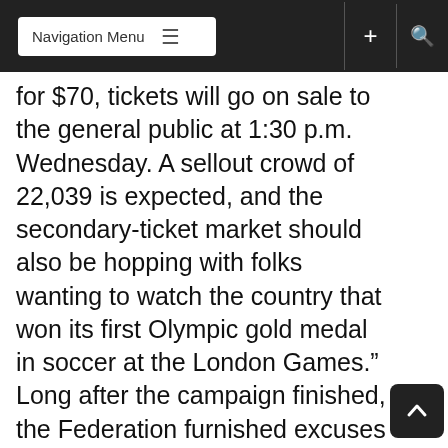Navigation Menu
for $70, tickets will go on sale to the general public at 1:30 p.m. Wednesday. A sellout crowd of 22,039 is expected, and the secondary-ticket market should also be hopping with folks wanting to watch the country that won its first Olympic gold medal in soccer at the London Games.” Long after the campaign finished, the Federation furnished excuses of its inability to provide financial figures gained by depriving thousands of Guyanese fans the opportunity to see stars such as Javier Hernandez on home soil, under the pretext